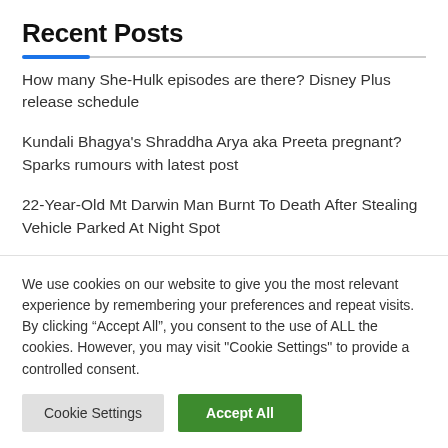Recent Posts
How many She-Hulk episodes are there? Disney Plus release schedule
Kundali Bhagya's Shraddha Arya aka Preeta pregnant? Sparks rumours with latest post
22-Year-Old Mt Darwin Man Burnt To Death After Stealing Vehicle Parked At Night Spot
We use cookies on our website to give you the most relevant experience by remembering your preferences and repeat visits. By clicking “Accept All”, you consent to the use of ALL the cookies. However, you may visit "Cookie Settings" to provide a controlled consent.